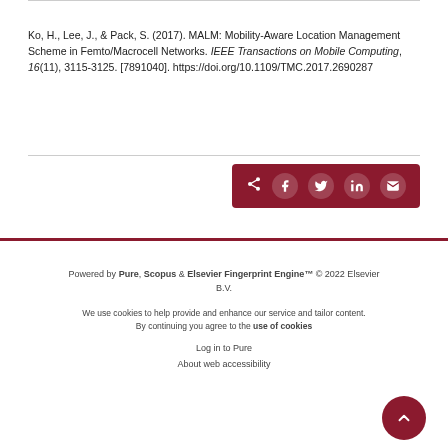Ko, H., Lee, J., & Pack, S. (2017). MALM: Mobility-Aware Location Management Scheme in Femto/Macrocell Networks. IEEE Transactions on Mobile Computing, 16(11), 3115-3125. [7891040]. https://doi.org/10.1109/TMC.2017.2690287
[Figure (other): Share bar with social media icons: share arrow, Facebook, Twitter, LinkedIn, and email icons on dark red background]
Powered by Pure, Scopus & Elsevier Fingerprint Engine™ © 2022 Elsevier B.V.
We use cookies to help provide and enhance our service and tailor content. By continuing you agree to the use of cookies
Log in to Pure
About web accessibility